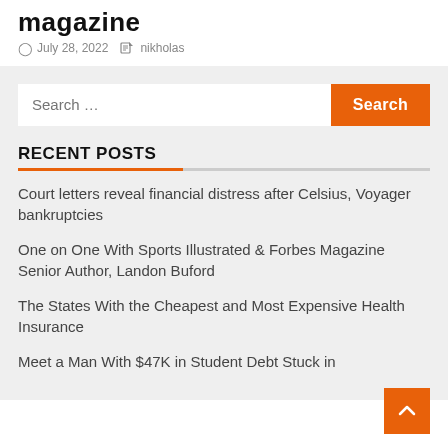magazine
July 28, 2022  nikholas
RECENT POSTS
Court letters reveal financial distress after Celsius, Voyager bankruptcies
One on One With Sports Illustrated & Forbes Magazine Senior Author, Landon Buford
The States With the Cheapest and Most Expensive Health Insurance
Meet a Man With $47K in Student Debt Stuck in